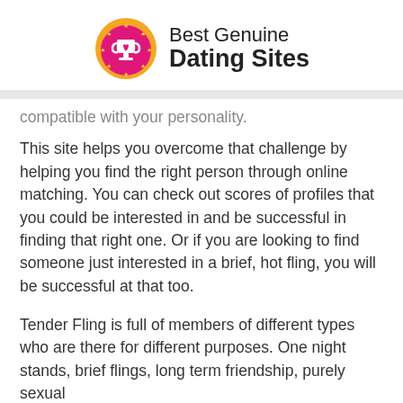[Figure (logo): Best Genuine Dating Sites logo with trophy icon on circular pink/orange gradient background]
compatible with your personality.
This site helps you overcome that challenge by helping you find the right person through online matching. You can check out scores of profiles that you could be interested in and be successful in finding that right one. Or if you are looking to find someone just interested in a brief, hot fling, you will be successful at that too.
Tender Fling is full of members of different types who are there for different purposes. One night stands, brief flings, long term friendship, purely sexual